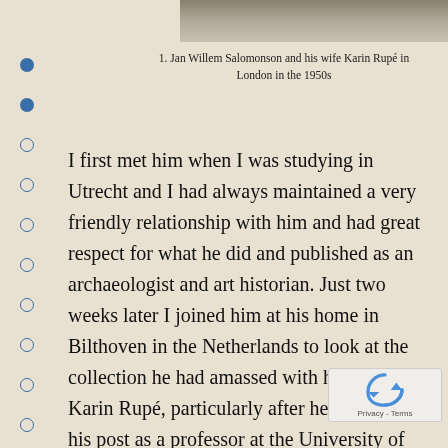[Figure (photo): Partial photograph visible at top of page, showing muted gray-brown tones, cropped.]
1. Jan Willem Salomonson and his wife Karin Rupé in London in the 1950s
I first met him when I was studying in Utrecht and I had always maintained a very friendly relationship with him and had great respect for what he did and published as an archaeologist and art historian. Just two weeks later I joined him at his home in Bilthoven in the Netherlands to look at the collection he had amassed with his wife Karin Rupé, particularly after he retired from his post as a professor at the University of Utrecht (fig. 1). At the heart of the collection were seventeenth-century Netherlandish paintings, but there were also sculptures and several paintings dating from the nineteenth a twentieth centuries. Before he died, Jan Willem